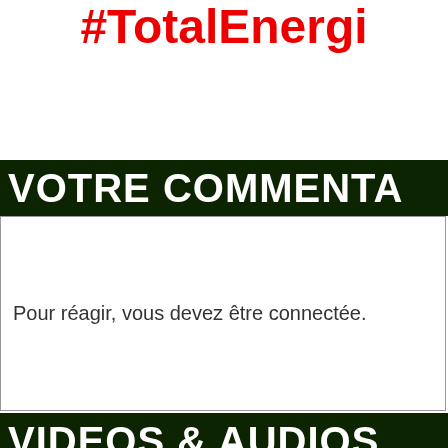#TotalEnergi
VOTRE COMMENTA
Pour réagir, vous devez être connectée.
VIDEOS & AUDIOS